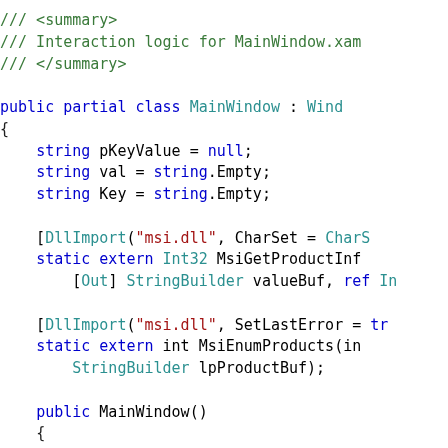/// <summary>
/// Interaction logic for MainWindow.xaml
/// </summary>

public partial class MainWindow : Window
{
    string pKeyValue = null;
    string val = string.Empty;
    string Key = string.Empty;

    [DllImport("msi.dll", CharSet = CharSet...
    static extern Int32 MsiGetProductInfo...
        [Out] StringBuilder valueBuf, ref In...

    [DllImport("msi.dll", SetLastError = tr...
    static extern int MsiEnumProducts(in...
        StringBuilder lpProductBuf);

    public MainWindow()
    {
        InitializeComponent();
    }

    private void Window_Loaded_1(obje...
    {